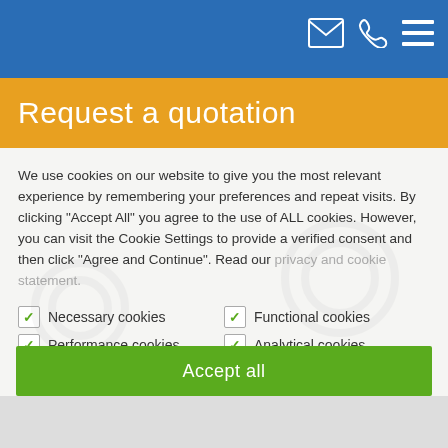Request a quotation
We use cookies on our website to give you the most relevant experience by remembering your preferences and repeat visits. By clicking "Accept All" you agree to the use of ALL cookies. However, you can visit the Cookie Settings to provide a verified consent and then click "Agree and Continue". Read our privacy and cookie statement.
☑ Necessary cookies   ☑ Functional cookies
☑ Performance cookies   ☑ Analytical cookies
☐ Marketing cookies   ☐ Other cookies
Cookie settings
Agree and continue
Accept all